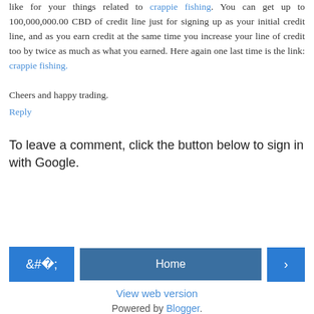like for your things related to crappie fishing. You can get up to 100,000,000.00 CBD of credit line just for signing up as your initial credit line, and as you earn credit at the same time you increase your line of credit too by twice as much as what you earned. Here again one last time is the link: crappie fishing.
Cheers and happy trading.
Reply
To leave a comment, click the button below to sign in with Google.
[Figure (other): SIGN IN WITH GOOGLE button (blue rectangle)]
[Figure (other): Navigation buttons: left arrow, Home, right arrow]
View web version
Powered by Blogger.